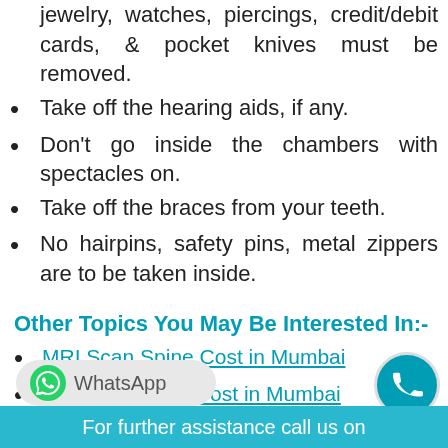jewelry, watches, piercings, credit/debit cards, & pocket knives must be removed.
Take off the hearing aids, if any.
Don't go inside the chambers with spectacles on.
Take off the braces from your teeth.
No hairpins, safety pins, metal zippers are to be taken inside.
Other Topics You May Be Interested In:-
MRI Scan Spine Cost in Mumbai
MRI Scan Knee Cost in Mumbai
Mammography Cost in Mumbai
WhatsApp
For further assistance call us on